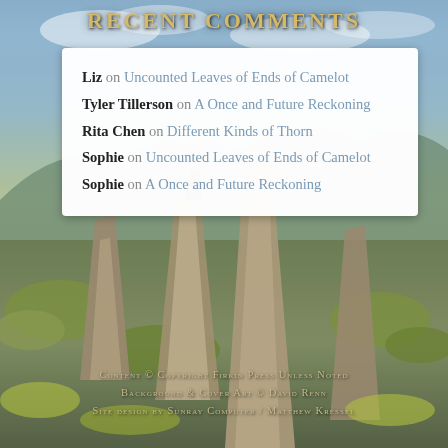Recent Comments
Liz on Uncounted Leaves of Ends of Camelot
Tyler Tillerson on A Once and Future Reckoning
Rita Chen on Different Kinds of Thorn
Sophie on Uncounted Leaves of Ends of Camelot
Sophie on A Once and Future Reckoning
[Figure (illustration): Fantasy landscape painting with rocky spires, green foliage, and a distant castle under a cloudy sky]
Content © Copyright Firkin Press Unless Noted
Background & Cover Art © David Renn
Site design by Sunray Computer / Matthew Kressel